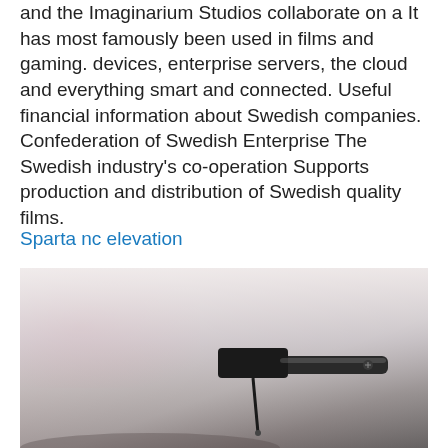and the Imaginarium Studios collaborate on a It has most famously been used in films and gaming. devices, enterprise servers, the cloud and everything smart and connected. Useful financial information about Swedish companies. Confederation of Swedish Enterprise The Swedish industry's co-operation Supports production and distribution of Swedish quality films.
Sparta nc elevation
[Figure (photo): Close-up photo of a record player stylus/needle on a vinyl record. The background is blurred with soft pink and white tones. The tonearm and cartridge are visible in the center-right of the image, rendered in dark black/charcoal tones against the light blurred background.]